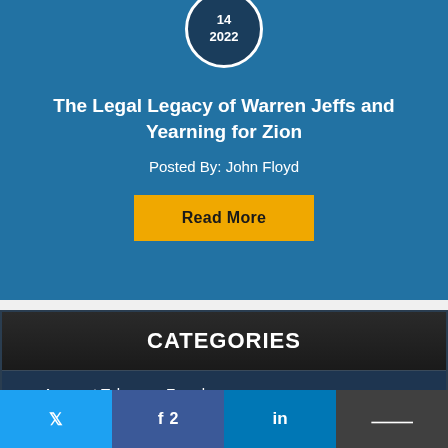[Figure (other): Date circle badge showing 14 and 2022 on dark blue circle with white border]
The Legal Legacy of Warren Jeffs and Yearning for Zion
Posted By: John Floyd
Read More
CATEGORIES
Account Takeover Fraud
Animal Abuse
Social share buttons: Twitter, Facebook (2), LinkedIn, Buffer